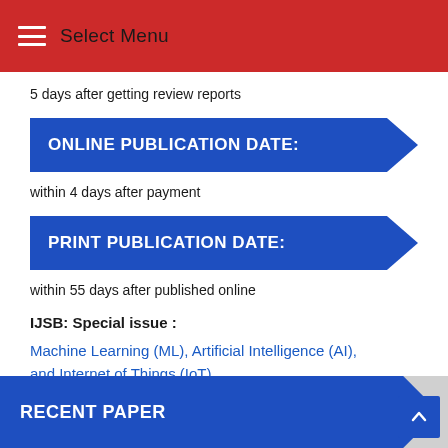Select Menu
5 days after getting review reports
ONLINE PUBLICATION DATE:
within 4 days after payment
PRINT PUBLICATION DATE:
within 55 days after published online
IJSB: Special issue :
Machine Learning (ML), Artificial Intelligence (AI), and Internet of Things (IoT)
RECENT PAPER